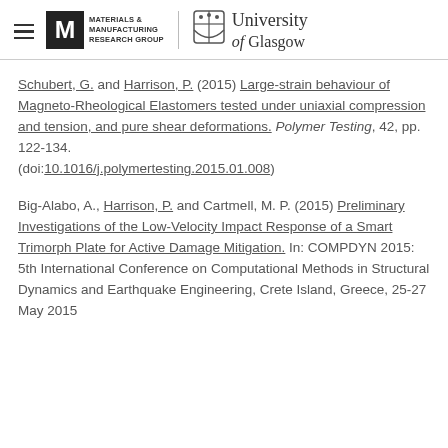MATERIALS & MANUFACTURING RESEARCH GROUP | University of Glasgow
Schubert, G. and Harrison, P. (2015) Large-strain behaviour of Magneto-Rheological Elastomers tested under uniaxial compression and tension, and pure shear deformations. Polymer Testing, 42, pp. 122-134. (doi:10.1016/j.polymertesting.2015.01.008)
Big-Alabo, A., Harrison, P. and Cartmell, M. P. (2015) Preliminary Investigations of the Low-Velocity Impact Response of a Smart Trimorph Plate for Active Damage Mitigation. In: COMPDYN 2015: 5th International Conference on Computational Methods in Structural Dynamics and Earthquake Engineering, Crete Island, Greece, 25-27 May 2015